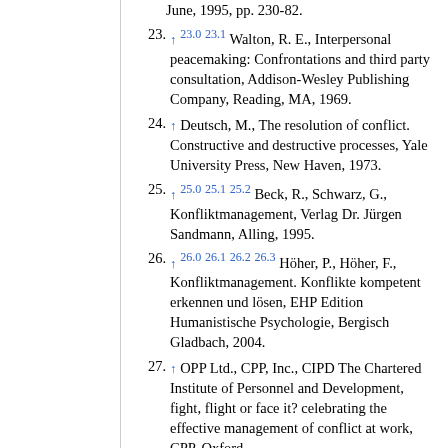June, 1995, pp. 230-82.
23. ↑ 23.0 23.1 Walton, R. E., Interpersonal peacemaking: Confrontations and third party consultation, Addison-Wesley Publishing Company, Reading, MA, 1969.
24. ↑ Deutsch, M., The resolution of conflict. Constructive and destructive processes, Yale University Press, New Haven, 1973.
25. ↑ 25.0 25.1 25.2 Beck, R., Schwarz, G., Konfliktmanagement, Verlag Dr. Jürgen Sandmann, Alling, 1995.
26. ↑ 26.0 26.1 26.2 26.3 Höher, P., Höher, F., Konfliktmanagement. Konflikte kompetent erkennen und lösen, EHP Edition Humanistische Psychologie, Bergisch Gladbach, 2004.
27. ↑ OPP Ltd., CPP, Inc., CIPD The Chartered Institute of Personnel and Development, fight, flight or face it? celebrating the effective management of conflict at work, CPP, Oxford.